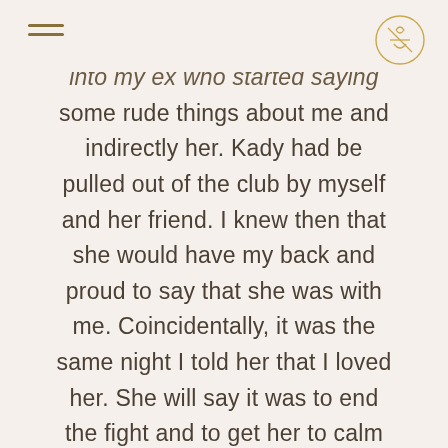[hamburger menu] [logo]
into my ex who started saying some rude things about me and indirectly her. Kady had be pulled out of the club by myself and her friend. I knew then that she would have my back and proud to say that she was with me. Coincidentally, it was the same night I told her that I loved her. She will say it was to end the fight and to get her to calm down, but it was from the heart and a statement that I stand by today